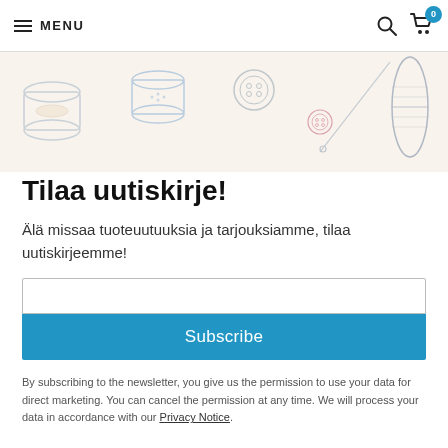MENU
[Figure (illustration): Decorative banner with sewing-related items: thread spools, buttons, needles drawn in outline style on a light cream/beige background]
Tilaa uutiskirje!
Älä missaa tuoteuutuuksia ja tarjouksiamme, tilaa uutiskirjeemme!
Subscribe
By subscribing to the newsletter, you give us the permission to use your data for direct marketing. You can cancel the permission at any time. We will process your data in accordance with our Privacy Notice.